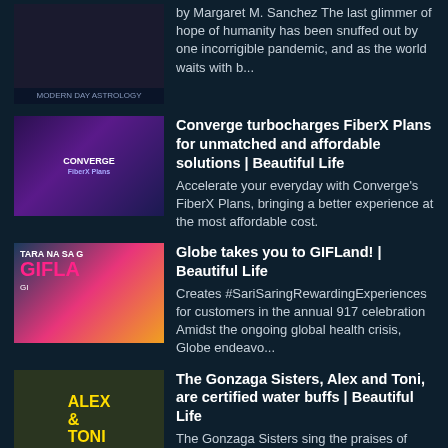by Margaret M. Sanchez The last glimmer of hope of humanity has been snuffed out by one incorrigible pandemic, and as the world waits with b...
Converge turbocharges FiberX Plans for unmatched and affordable solutions | Beautiful Life
Accelerate your everyday with Converge's FiberX Plans, bringing a better experience at the most affordable cost.
Globe takes you to GIFLand! | Beautiful Life
Creates #SariSaringRewardingExperiences for customers in the annual 917 celebration   Amidst the ongoing global health crisis, Globe endeavo...
The Gonzaga Sisters, Alex and Toni, are certified water buffs | Beautiful Life
The Gonzaga Sisters sing the praises of water for health and beauty A lot of money is spent on cosmetics, facelifts, and other so-called bea...
PARTNER SITES
[Figure (logo): Partial logo text in red and white at the bottom, appearing to say 'TURISMO' with stylized letters]